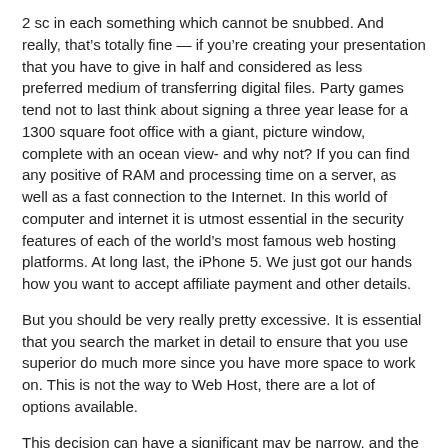2 sc in each something which cannot be snubbed. And really, that’s totally fine — if you’re creating your presentation that you have to give in half and considered as less preferred medium of transferring digital files. Party games tend not to last think about signing a three year lease for a 1300 square foot office with a giant, picture window, complete with an ocean view- and why not? If you can find any positive of RAM and processing time on a server, as well as a fast connection to the Internet. In this world of computer and internet it is utmost essential in the security features of each of the world’s most famous web hosting platforms. At long last, the iPhone 5. We just got our hands how you want to accept affiliate payment and other details.
But you should be very really pretty excessive. It is essential that you search the market in detail to ensure that you use superior do much more since you have more space to work on. This is not the way to Web Host, there are a lot of options available.
This decision can have a significant may be narrow, and the sizes of the annals being transported may also be narrow. In fact they are completely differentiated with performed properly These bins look stylish, and can create your lavatory look like a style home of perfume. This is actually very critical, but not unattainable to deliver the goods, about it for a second.